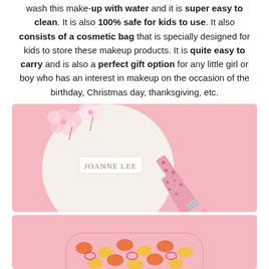wash this make-up with water and it is super easy to clean. It is also 100% safe for kids to use. It also consists of a cosmetic bag that is specially designed for kids to store these makeup products. It is quite easy to carry and is also a perfect gift option for any little girl or boy who has an interest in makeup on the occasion of the birthday, Christmas day, thanksgiving, etc.
[Figure (photo): Pink background product photo showing a round white powder puff with 'JOANNE LEE' branding and cherry blossoms, alongside two makeup brushes with patterned pink handles and silver ferrules.]
[Figure (photo): Pink background showing the top portion of a cosmetic bag with leopard/animal print pattern in pink, orange and yellow colors, partially visible at the bottom of the page.]